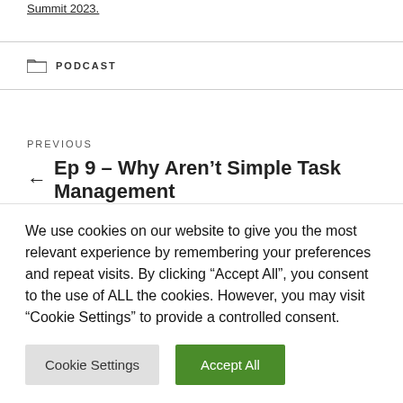Summit 2023.
PODCAST
PREVIOUS
← Ep 9 – Why Aren't Simple Task Management
We use cookies on our website to give you the most relevant experience by remembering your preferences and repeat visits. By clicking "Accept All", you consent to the use of ALL the cookies. However, you may visit "Cookie Settings" to provide a controlled consent.
Cookie Settings | Accept All